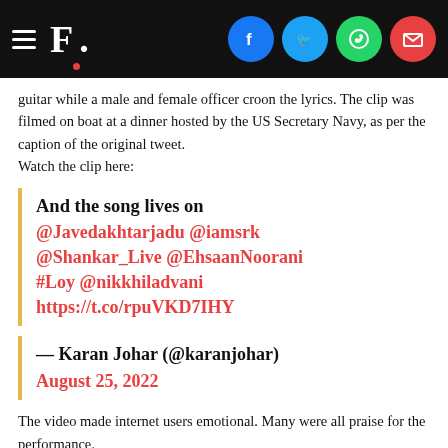F. [logo with social share icons: Facebook, Twitter, WhatsApp, Email]
guitar while a male and female officer croon the lyrics. The clip was filmed on boat at a dinner hosted by the US Secretary Navy, as per the caption of the original tweet.
Watch the clip here:
And the song lives on @Javedakhtarjadu @iamsrk @Shankar_Live @EhsaanNoorani #Loy @nikkhiladvani https://t.co/rpuVKD7IHY
— Karan Johar (@karanjohar)
August 25, 2022
The video made internet users emotional. Many were all praise for the performance.